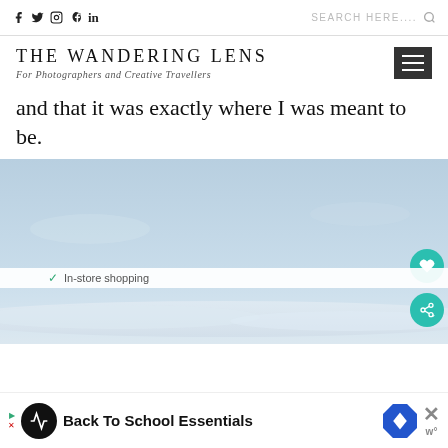f  Twitter  Instagram  Pinterest  in    SEARCH HERE....
THE WANDERING LENS
For Photographers and Creative Travellers
and that it was exactly where I was meant to be.
[Figure (photo): Sky photograph showing light blue sky with faint clouds near the horizon, partially cropped]
In-store shopping
Back To School Essentials